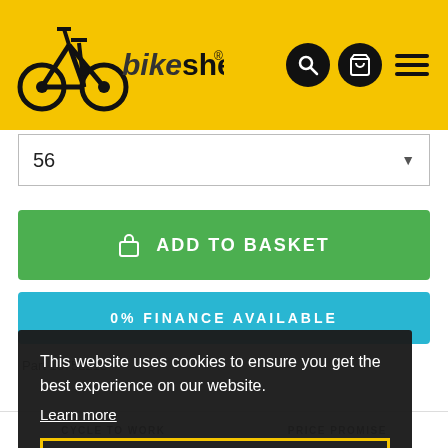bikeshed
56
ADD TO BASKET
0% FINANCE AVAILABLE
Part 18752218
This website uses cookies to ensure you get the best experience on our website.
Learn more
Got it!
CYCLE TO WORK
PRICE PROMISE